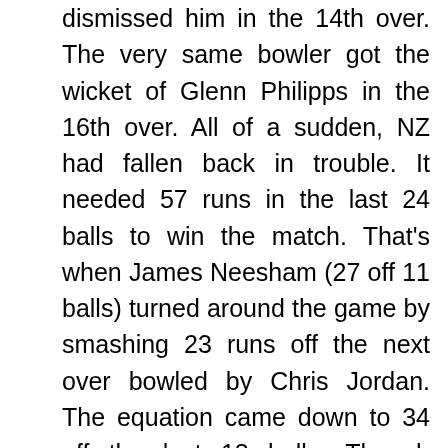dismissed him in the 14th over. The very same bowler got the wicket of Glenn Philipps in the 16th over. All of a sudden, NZ had fallen back in trouble. It needed 57 runs in the last 24 balls to win the match. That's when James Neesham (27 off 11 balls) turned around the game by smashing 23 runs off the next over bowled by Chris Jordan. The equation came down to 34 off the last 18 balls. Though Neesham got out after a blinder, Daryl Mitchell continued the momentum and helped his team chase down the target in 19 overs. Thus, New Zealand scored 167 runs for the loss of five wickets.